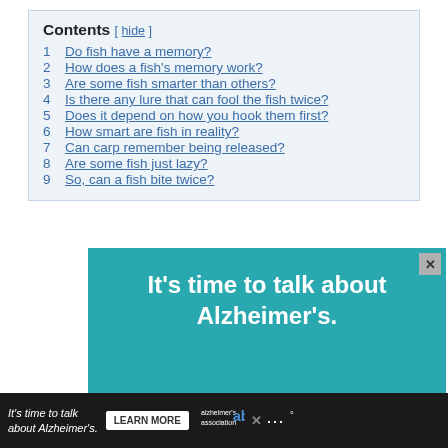Contents [ hide ]
1  Do fish have a memory?
2  How does a fish's memory work?
3  Are some fish smarter than others?
4  Is there any lure that can fool the fish twice?
5  Does it depend on how you hook them first?
6  How smart are fish in reality?
7  Can carp remember being released?
8  Are some fish just lazy?
9  So, can a fish bite twice?
[Figure (infographic): Advertisement banner for Alzheimer's Association reading 'It's time to talk about Alzheimer's.']
It's time to talk about Alzheimer's. LEARN MORE [Alzheimer's Association logo]